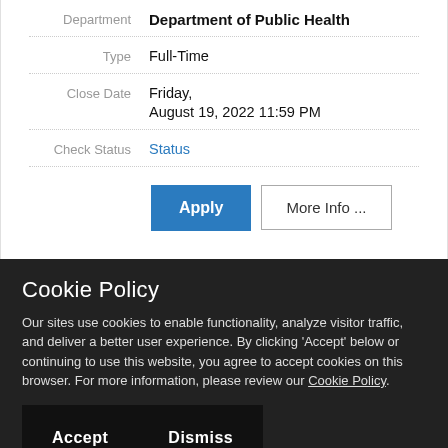| Department | Department of Public Health |
| Type | Full-Time |
| Close Date | Friday,
August 19, 2022 11:59 PM |
| Check Status | Status |
Apply   More Info ...
Cookie Policy
Our sites use cookies to enable functionality, analyze visitor traffic, and deliver a better user experience. By clicking 'Accept' below or continuing to use this website, you agree to accept cookies on this browser. For more information, please review our Cookie Policy.
Accept   Dismiss